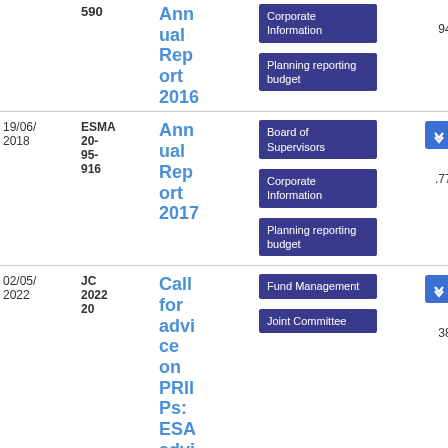| Date | Reference | Title | Tags | Download |
| --- | --- | --- | --- | --- |
|  | 590 | Annual Report 2016 | Corporate Information
Planning reporting budget | 2.94 MB |
| 19/06/2018 | ESMA 20-95-916 | Annual Report 2017 | Board of Supervisors
Corporate Information
Planning reporting budget | PDF 10.77 MB |
| 02/05/2022 | JC 2022 20 | Call for advice on PRIIPs: ESA advi... | Fund Management
Joint Committee | PDF 3.38 MB |